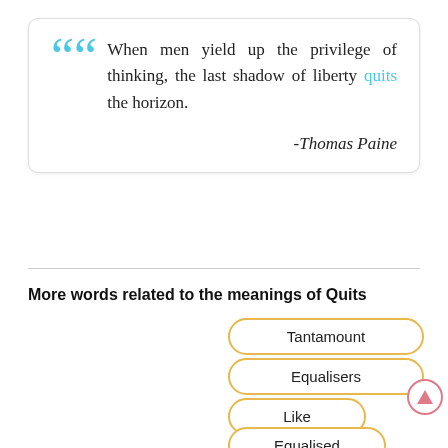When men yield up the privilege of thinking, the last shadow of liberty quits the horizon.
-Thomas Paine
More words related to the meanings of Quits
Tantamount
Equalisers
Like
Equalised